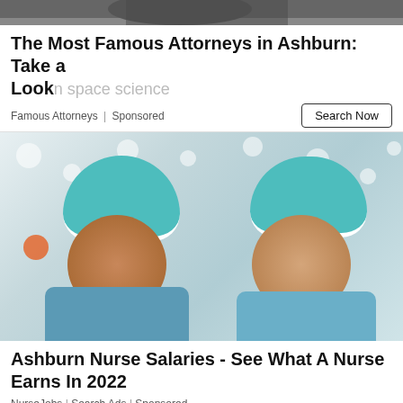[Figure (photo): Partial photo strip at top of page showing dark/shadowed person]
The Most Famous Attorneys in Ashburn: Take a Look
Famous Attorneys | Sponsored
[Figure (photo): Two smiling female nurses in teal/green surgical caps and blue scrubs in a hospital setting]
Ashburn Nurse Salaries - See What A Nurse Earns In 2022
NurseJobs | Search Ads | Sponsored